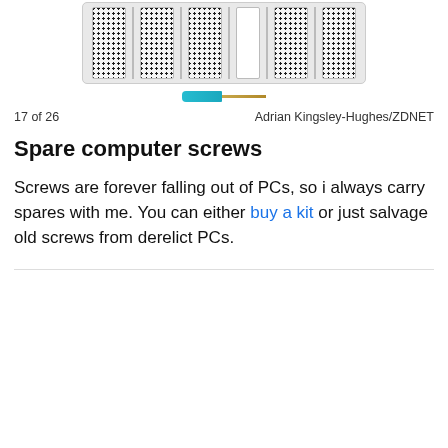[Figure (photo): Product photo showing a compartmentalized case of small computer screws (various types) above a teal/cyan screwdriver tool]
17 of 26	Adrian Kingsley-Hughes/ZDNET
Spare computer screws
Screws are forever falling out of PCs, so i always carry spares with me. You can either buy a kit or just salvage old screws from derelict PCs.